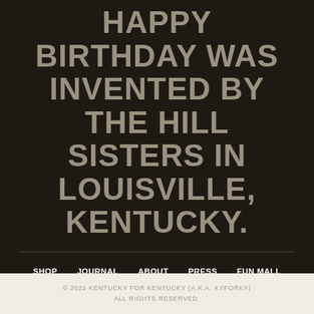HAPPY BIRTHDAY WAS INVENTED BY THE HILL SISTERS IN LOUISVILLE, KENTUCKY.
SHOP
JOURNAL
ABOUT
PRESS
FUN MALL
CONTACT
WHOLESALE
SHIPPING & RETURN POLICY
REFUND POLICY
TRACK ORDER
TERMS OF SERVICE
PRIVACY POLICY
GET TEXTS
© 2022 KENTUCKY FOR KENTUCKY (A.K.A. KYFORKY) ALL RIGHTS RESERVED.